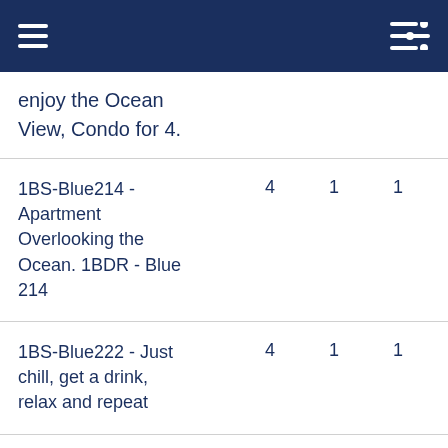enjoy the Ocean View, Condo for 4.
| Name | Guests | Bedrooms | Bathrooms |
| --- | --- | --- | --- |
| 1BS-Blue214 - Apartment Overlooking the Ocean. 1BDR - Blue 214 | 4 | 1 | 1 |
| 1BS-Blue222 - Just chill, get a drink, relax and repeat | 4 | 1 | 1 |
| 1BS-Blue223 - Colorful and | 4 | 1 | 1 |